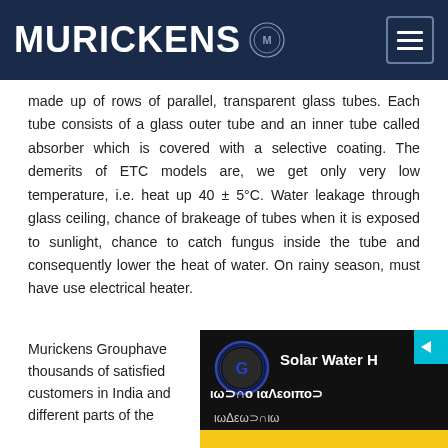MURICKENS
made up of rows of parallel, transparent glass tubes. Each tube consists of a glass outer tube and an inner tube called absorber which is covered with a selective coating. The demerits of ETC models are, we get only very low temperature, i.e. heat up 40 ± 5°C. Water leakage through glass ceiling, chance of brakeage of tubes when it is exposed to sunlight, chance to catch fungus inside the tube and consequently lower the heat of water. On rainy season, must have use electrical heater.
Murickens Grouphave thousands of satisfied customers in India and different parts of the
[Figure (screenshot): Video thumbnail showing Murickens Group logo and text 'Solar Water H' with Malayalam text overlay on dark background]